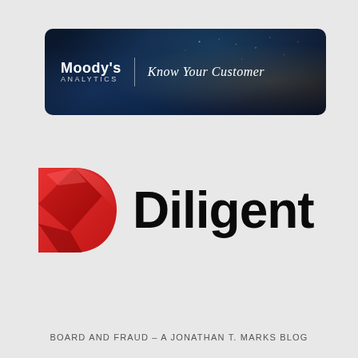[Figure (logo): Moody's Analytics – Know Your Customer banner with dark blue gradient background and gold particle effects]
[Figure (logo): Diligent logo with red geometric D icon and bold black Diligent wordmark]
BOARD AND FRAUD – A JONATHAN T. MARKS BLOG